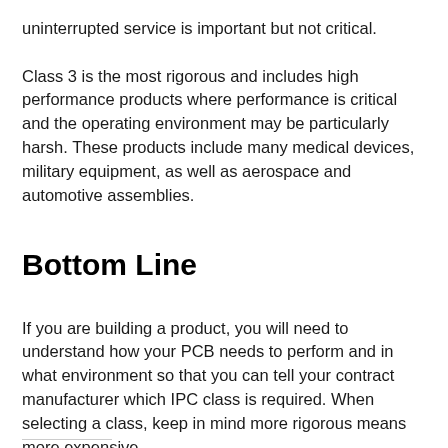uninterrupted service is important but not critical.
Class 3 is the most rigorous and includes high performance products where performance is critical and the operating environment may be particularly harsh. These products include many medical devices, military equipment, as well as aerospace and automotive assemblies.
Bottom Line
If you are building a product, you will need to understand how your PCB needs to perform and in what environment so that you can tell your contract manufacturer which IPC class is required. When selecting a class, keep in mind more rigorous means more expensive.